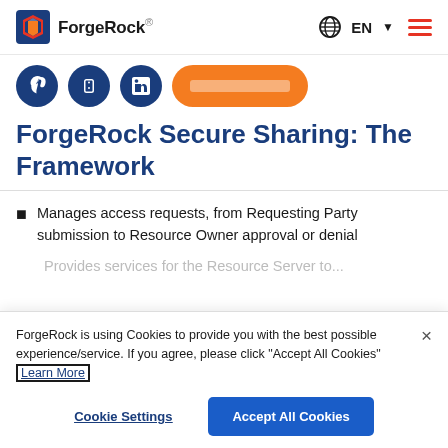ForgeRock | EN
[Figure (screenshot): Social media share icons (three dark blue circles) and an orange button (partially visible text)]
ForgeRock Secure Sharing: The Framework
Manages access requests, from Requesting Party submission to Resource Owner approval or denial
Provides services for the Resource Server to... (partially visible)
ForgeRock is using Cookies to provide you with the best possible experience/service. If you agree, please click "Accept All Cookies" Learn More
Cookie Settings
Accept All Cookies